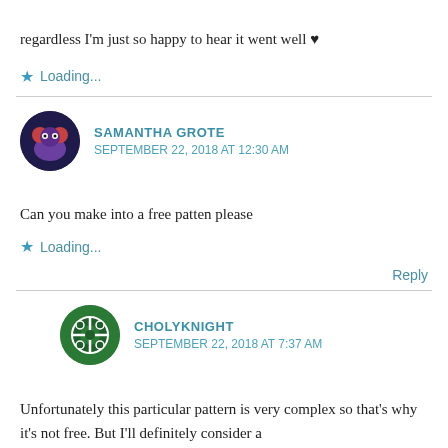regardless I'm just so happy to hear it went well ♥
★ Loading...
SAMANTHA GROTE
SEPTEMBER 22, 2018 AT 12:30 AM
Can you make into a free patten please
★ Loading...
Reply
CHOLYKNIGHT
SEPTEMBER 22, 2018 AT 7:37 AM
Unfortunately this particular pattern is very complex so that's why it's not free. But I'll definitely consider a